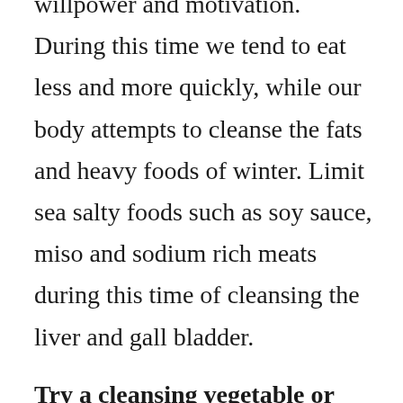willpower and motivation. During this time we tend to eat less and more quickly, while our body attempts to cleanse the fats and heavy foods of winter. Limit sea salty foods such as soy sauce, miso and sodium rich meats during this time of cleansing the liver and gall bladder.
Try a cleansing vegetable or fruit fast for a 3 day period. For those who can handle a longer fast, research the “10 Day Master